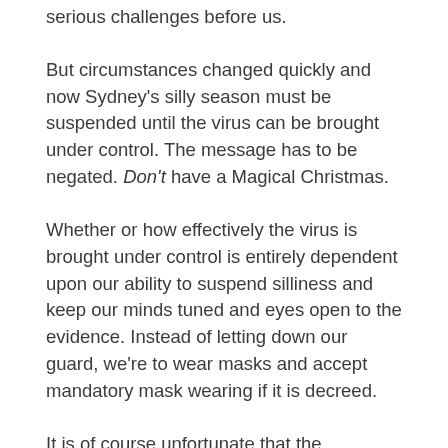serious challenges before us.
But circumstances changed quickly and now Sydney's silly season must be suspended until the virus can be brought under control. The message has to be negated. Don't have a Magical Christmas.
Whether or how effectively the virus is brought under control is entirely dependent upon our ability to suspend silliness and keep our minds tuned and eyes open to the evidence. Instead of letting down our guard, we're to wear masks and accept mandatory mask wearing if it is decreed.
It is of course unfortunate that the deliberate emptiness of the 'silly' season is routinely conflated with what Christmas is intended to celebrate. That is the Christian believers' moment of hope for a better world that is